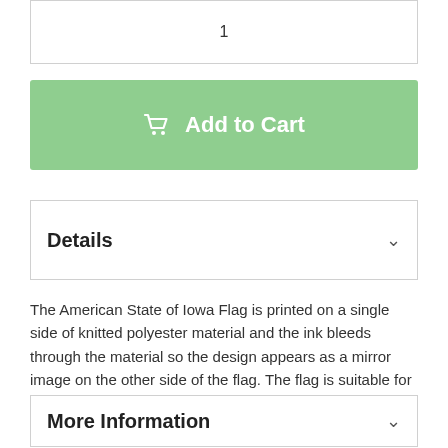1
[Figure (other): Add to Cart button with shopping cart icon, green background]
Details
The American State of Iowa Flag is printed on a single side of knitted polyester material and the ink bleeds through the material so the design appears as a mirror image on the other side of the flag. The flag is suitable for outdoor and indoor use.
More Information